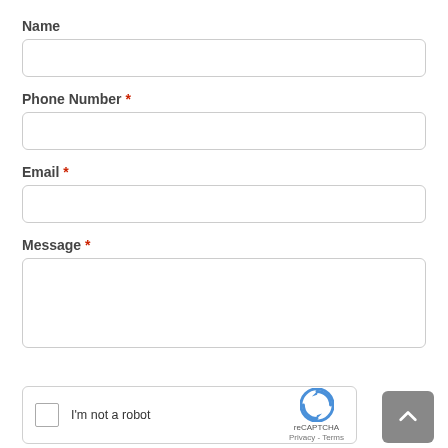Name
[Figure (other): Empty text input field for Name]
Phone Number *
[Figure (other): Empty text input field for Phone Number]
Email *
[Figure (other): Empty text input field for Email]
Message *
[Figure (other): Empty textarea for Message]
[Figure (other): reCAPTCHA widget with checkbox and 'I'm not a robot' text, reCAPTCHA logo, Privacy and Terms links]
[Figure (other): Scroll to top button with upward chevron arrow, grey background]